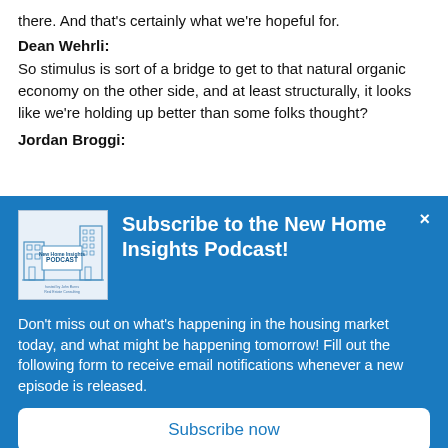there. And that's certainly what we're hopeful for.
Dean Wehrli:
So stimulus is sort of a bridge to get to that natural organic economy on the other side, and at least structurally, it looks like we're holding up better than some folks thought?
Jordan Broggi:
[Figure (illustration): New Home Insights Podcast logo/cover art showing a building illustration and the text 'New Home Insights PODCAST hosted by John Burns Real Estate Consulting']
Subscribe to the New Home Insights Podcast!
Don't miss out on what's happening in the housing market today, and what might be happening tomorrow! Fill out the following form to receive email notifications whenever a new episode is released.
Subscribe now